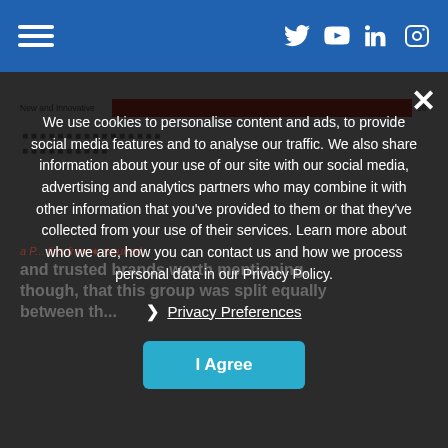[Figure (screenshot): Navigation bar with hamburger menu icon on the left and social media icons (Twitter, YouTube, LinkedIn, Instagram) on the right, on a blue background]
[Figure (bar-chart): Partial bar chart visible behind modal, showing 'New and Innovative' category with a red bar and value 66]
We use cookies to personalise content and ads, to provide social media features and to analyse our traffic. We also share information about your use of our site with our social media, advertising and analytics partners who may combine it with other information that you've provided to them or that they've collected from your use of their services. Learn more about who we are, how you can contact us and how we process personal data in our Privacy Policy.
Privacy Preferences
I Agree